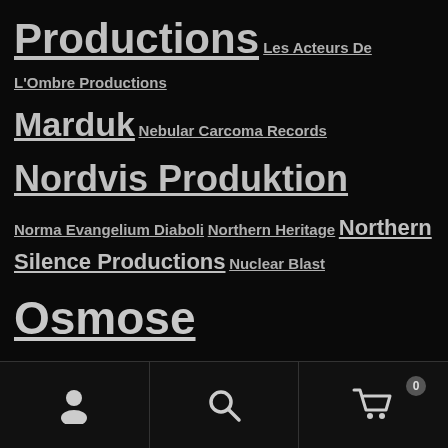Productions Les Acteurs De L'Ombre Productions
Marduk Nebular Carcoma Records Nordvis Produktion
Norma Evangelium Diaboli Northern Heritage Northern Silence Productions Nuclear Blast
Osmose Productions Peaceville
Prophecy Productions Purity Through Fire Rise Above Records Rotting Christ Season of Mist Signal Rex
Soulseller Records Spinefarm Records Terratur Possessions The Devil's Elixir The Sinister Flame Trisol
Vendetta Records Ván Records Werewolf
User | Search | Cart (0)